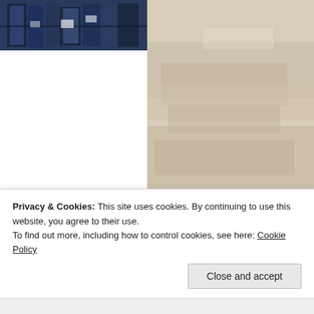[Figure (photo): Photo strip at top: left section shows dark blue/navy shelving or bookcase scene; right section shows a beige/cream fabric or paper layered scene]
The puzzle pieces fit… as the original was layere
Advertisements
[Figure (photo): Advertisement banner with dark navy background showing white serif text reading 'Opinions.' and partially visible second line starting with 'W']
Privacy & Cookies: This site uses cookies. By continuing to use this website, you agree to their use.
To find out more, including how to control cookies, see here: Cookie Policy
Close and accept